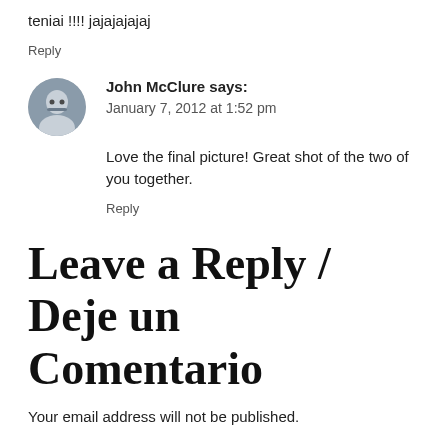teniai !!!! jajajajajaj
Reply
John McClure says:
January 7, 2012 at 1:52 pm
Love the final picture! Great shot of the two of you together.
Reply
Leave a Reply / Deje un Comentario
Your email address will not be published.